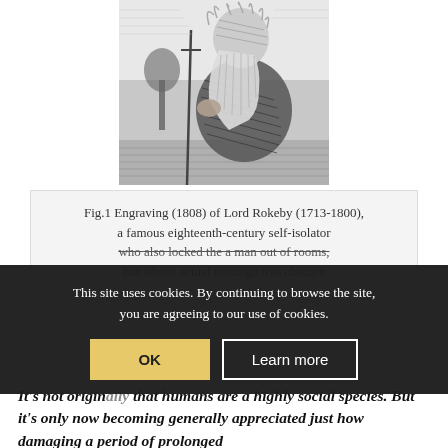[Figure (illustration): An engraving depicting an elderly bearded man, Lord Rokeby, holding a staff, in a detailed cross-hatched style typical of early 19th century engravings.]
Fig.1 Engraving (1808) of Lord Rokeby (1713-1800), a famous eighteenth-century self-isolator who also locked the a man out of rooms, but whose actual message was obscure
This site uses cookies. By continuing to browse the site, you are agreeing to our use of cookies.
It's not originally that humans are a highly social species. But it's only now becoming generally appreciated just how damaging a period of prolonged